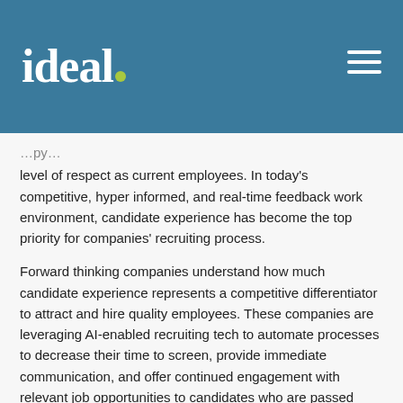[Figure (logo): ideal. logo with green dot on dark teal/blue header bar with hamburger menu icon]
level of respect as current employees. In today’s competitive, hyper informed, and real-time feedback work environment, candidate experience has become the top priority for companies’ recruiting process.
Forward thinking companies understand how much candidate experience represents a competitive differentiator to attract and hire quality employees. These companies are leveraging AI-enabled recruiting tech to automate processes to decrease their time to screen, provide immediate communication, and offer continued engagement with relevant job opportunities to candidates who are passed over.